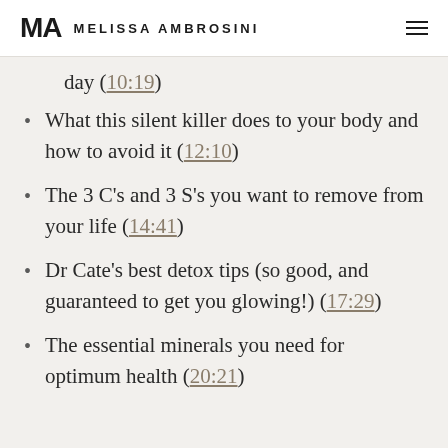MA MELISSA AMBROSINI
day (10:19)
What this silent killer does to your body and how to avoid it (12:10)
The 3 C’s and 3 S’s you want to remove from your life (14:41)
Dr Cate’s best detox tips (so good, and guaranteed to get you glowing!) (17:29)
The essential minerals you need for optimum health (20:21)